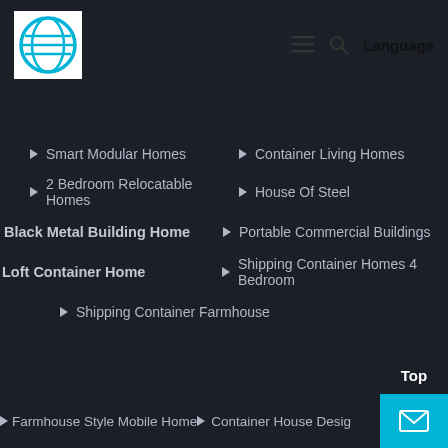[Figure (logo): Blue circular logo with white lines/stripes on white background]
≡  🔍  Language
Smart Modular Homes
Container Living Homes
2 Bedroom Relocatable Homes
House Of Steel
Black Metal Building Home
Portable Commercial Buildings
Loft Container Home
Shipping Container Homes 4 Bedroom
Shipping Container Farmhouse
Farmhouse Style Mobile Home
Container House Design